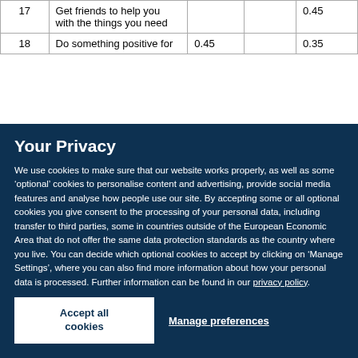|  |  |  |  |  |
| --- | --- | --- | --- | --- |
| 17 | Get friends to help you with the things you need |  |  | 0.45 |
| 18 | Do something positive for | 0.45 |  | 0.35 |
Your Privacy
We use cookies to make sure that our website works properly, as well as some ‘optional’ cookies to personalise content and advertising, provide social media features and analyse how people use our site. By accepting some or all optional cookies you give consent to the processing of your personal data, including transfer to third parties, some in countries outside of the European Economic Area that do not offer the same data protection standards as the country where you live. You can decide which optional cookies to accept by clicking on ‘Manage Settings’, where you can also find more information about how your personal data is processed. Further information can be found in our privacy policy.
Accept all cookies
Manage preferences